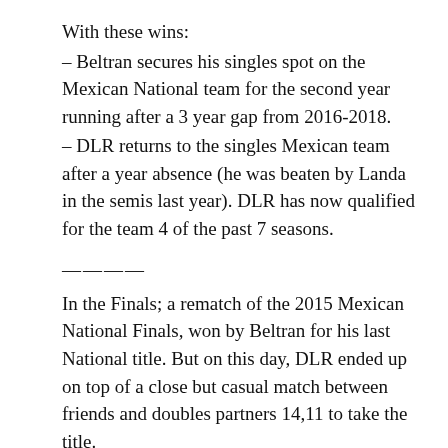With these wins:
– Beltran secures his singles spot on the Mexican National team for the second year running after a 3 year gap from 2016-2018.
– DLR returns to the singles Mexican team after a year absence (he was beaten by Landa in the semis last year). DLR has now qualified for the team 4 of the past 7 seasons.
————
In the Finals; a rematch of the 2015 Mexican National Finals, won by Beltran for his last National title. But on this day, DLR ended up on top of a close but casual match between friends and doubles partners 14,11 to take the title.
——————————
Lets review the notable matches in the Women's Singles